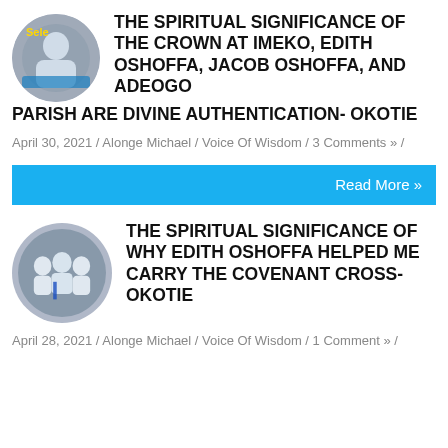[Figure (photo): Circular avatar image showing a person in white religious garments at what appears to be a ceremony]
THE SPIRITUAL SIGNIFICANCE OF THE CROWN AT IMEKO, EDITH OSHOFFA, JACOB OSHOFFA, AND ADEOGO PARISH ARE DIVINE AUTHENTICATION- OKOTIE
April 30, 2021 / Alonge Michael / Voice Of Wisdom / 3 Comments » /
Read More »
[Figure (photo): Circular avatar image showing a group of people in white religious garments]
THE SPIRITUAL SIGNIFICANCE OF WHY EDITH OSHOFFA HELPED ME CARRY THE COVENANT CROSS- OKOTIE
April 28, 2021 / Alonge Michael / Voice Of Wisdom / 1 Comment » /